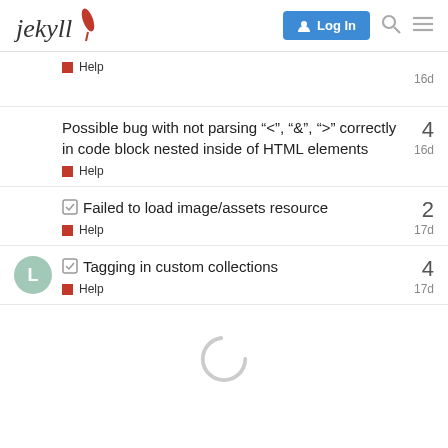jekyll — Log In
Help — 16d
Possible bug with not parsing "<", "&", ">" correctly in code block nested inside of HTML elements — Help — 16d — 4
✓ Failed to load image/assets resource — Help — 17d — 2
✓ Tagging in custom collections — Help — 17d — 4
[Figure (other): Loading spinner (partial circle arc indicating content is loading)]